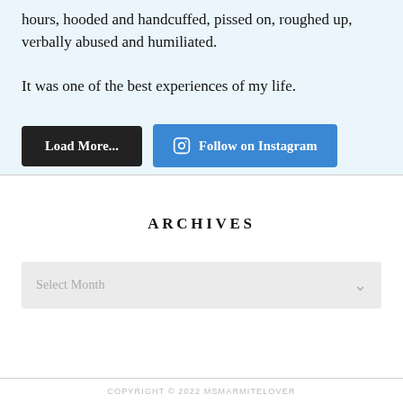hours, hooded and handcuffed, pissed on, roughed up, verbally abused and humiliated.

It was one of the best experiences of my life.
[Figure (screenshot): Two buttons: 'Load More...' (dark/black background) and 'Follow on Instagram' (blue background with Instagram icon)]
ARCHIVES
Select Month
COPYRIGHT © 2022 MSMARMITELOVER